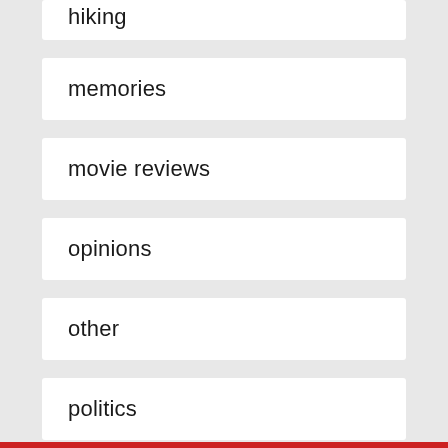hiking
memories
movie reviews
opinions
other
politics
R
religion